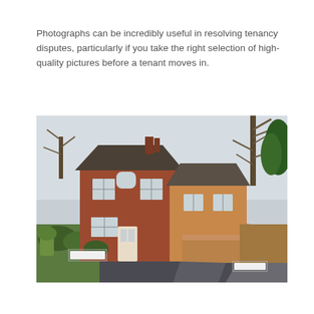Photographs can be incredibly useful in resolving tenancy disputes, particularly if you take the right selection of high-quality pictures before a tenant moves in.
[Figure (photo): Exterior photograph of a red-brick Victorian residential house on a quiet road, with bare trees and evergreen hedges visible. Two street signs are present, one on the left and one on the right. The scene is taken in winter/early spring with a pale sky.]